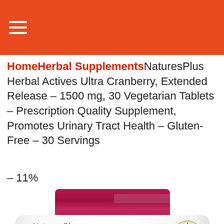[Figure (logo): Orange header bar with white hamburger menu icon]
HomeHerbal SupplementsNaturesPlus Herbal Actives Ultra Cranberry, Extended Release – 1500 mg, 30 Vegetarian Tablets – Prescription Quality Supplement, Promotes Urinary Tract Health – Gluten-Free – 30 Servings
– 11%
[Figure (photo): NaturesPlus Herbal Actives Ultra Cranberry 1500 supplement bottle with dark pink/magenta cap, showing partial product label with brand name, CRANBERRY 1500 text, and a clock icon]